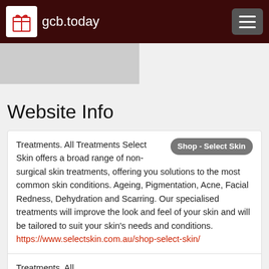gcb.today
[Figure (screenshot): Gray image placeholder below header]
Website Info
Treatments. All Treatments Select Skin offers a broad range of non-surgical skin treatments, offering you solutions to the most common skin conditions. Ageing, Pigmentation, Acne, Facial Redness, Dehydration and Scarring. Our specialised treatments will improve the look and feel of your skin and will be tailored to suit your skin's needs and conditions. https://www.selectskin.com.au/shop-select-skin/
Treatments. All Treatments Select Skin offers a broad range of non-surgical skin treatments, offering you solutions to the most common skin conditions. Ageing, Pigmentation, Acne, Facial Redness, Dehydration and Scarring. Our specialised treatments will improve the look and feel of your skin and will be tailored to suit